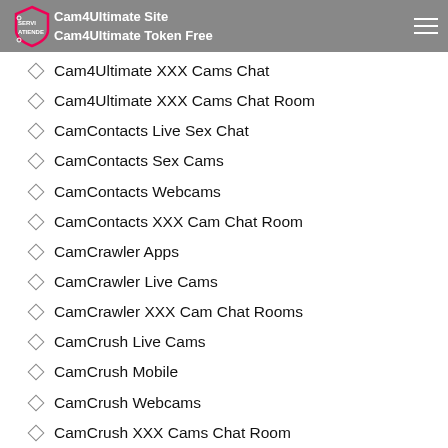Cam4Ultimate Site | Cam4Ultimate Token Free
Cam4Ultimate XXX Cams Chat
Cam4Ultimate XXX Cams Chat Room
CamContacts Live Sex Chat
CamContacts Sex Cams
CamContacts Webcams
CamContacts XXX Cam Chat Room
CamCrawler Apps
CamCrawler Live Cams
CamCrawler XXX Cam Chat Rooms
CamCrush Live Cams
CamCrush Mobile
CamCrush Webcams
CamCrush XXX Cams Chat Room
CamDolls Apps
CamDolls Hot Cam Show